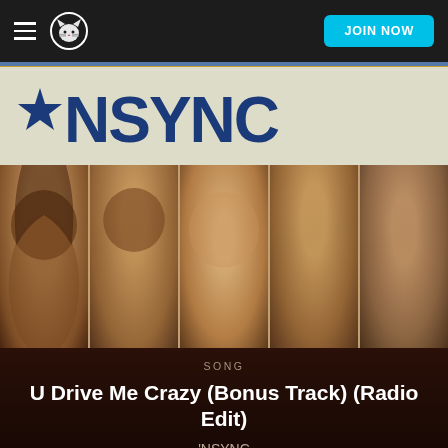[Figure (screenshot): Napster music app interface showing *NSYNC album art and song details for 'U Drive Me Crazy (Bonus Track) (Radio Edit)']
JOIN NOW
[Figure (photo): NSYNC album cover with star-and-NSYNC logo at top on cream background, five band member portrait photos below in sepia tone]
SONG
U Drive Me Crazy (Bonus Track) (Radio Edit)
'NSYNC